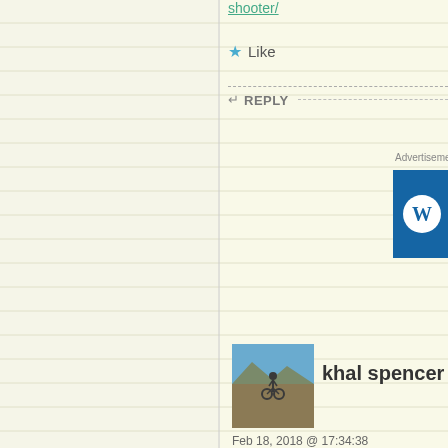shooter/
★ Like
↩ REPLY
Advertisements
[Figure (screenshot): WordPress.com advertisement banner with blue background, WordPress logo, site name 'WordPress.com', and pink 'Build' button]
[Figure (photo): Avatar photo of khal spencer - person on a bicycle on a mountain trail with blue sky background]
khal spencer
Feb 18, 2018 @ 17:34:38
I imagine Florida, aka the Gunshine State, is in no danger of passing Firearms Emergency Protective Order laws.
★ Like
↩ REPLY
Advertisements